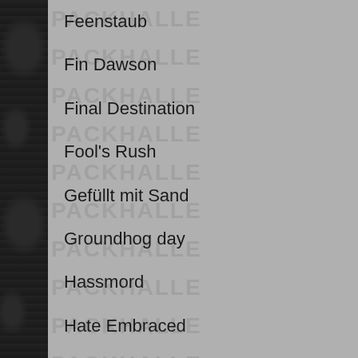Feenstaub
Fin Dawson
Final Destination
Fool's Rush
Gefüllt mit Sand
Groundhog day
Hassmord
Hate Embraced
Hayser
High Road Easy
Home Reared Meat
Icarus downfall
Islay